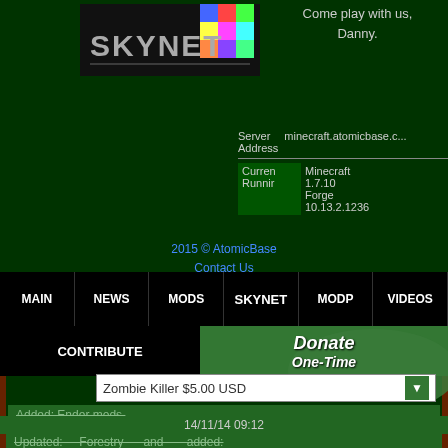[Figure (logo): SKYNET logo with colorful gradient squares on dark background]
Come play with us, Danny.
| Server Address | minecraft.atomicbase.c... |
| --- | --- |
| Current Running | Minecraft 1.7.10 Forge 10.13.2.1236 |
2015 © AtomicBase
Contact Us
MAIN | NEWS | MODS | MODP | VIDEOS | SKYNET
CONTRIBUTE
Donate One-Time
Zombie Killer $5.00 USD
Added: Ender mods.
Added: Simple Fluid Tanks.
14/11/14 09:12
Updated: Forestry and added: ComputerCraft, Gendustry, and OpenComputers...